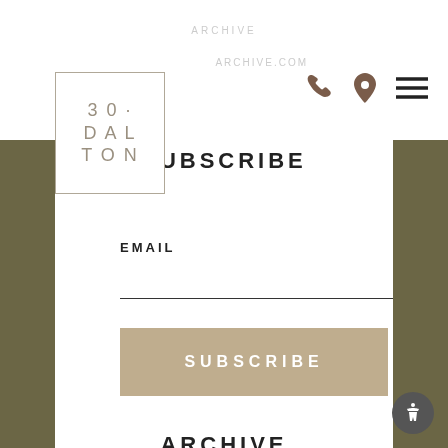[Figure (logo): 30+DALTON logo in a bordered box]
SUBSCRIBE
EMAIL
SUBSCRIBE
ARCHIVE
DATE
SELECT MONTH
TAG